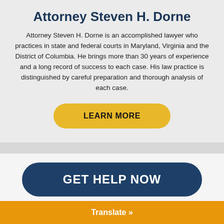Attorney Steven H. Dorne
Attorney Steven H. Dorne is an accomplished lawyer who practices in state and federal courts in Maryland, Virginia and the District of Columbia. He brings more than 30 years of experience and a long record of success to each case. His law practice is distinguished by careful preparation and thorough analysis of each case.
LEARN MORE
GET HELP NOW
Translate »